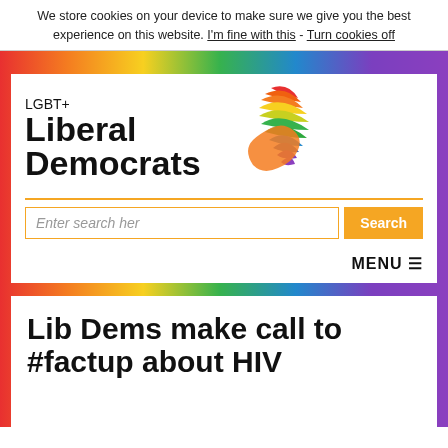We store cookies on your device to make sure we give you the best experience on this website. I'm fine with this - Turn cookies off
[Figure (logo): LGBT+ Liberal Democrats logo with rainbow bird/flame symbol]
Lib Dems make call to #factup about HIV